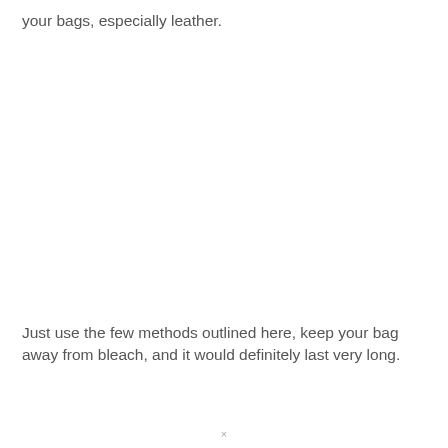your bags, especially leather.
Just use the few methods outlined here, keep your bag away from bleach, and it would definitely last very long.
×